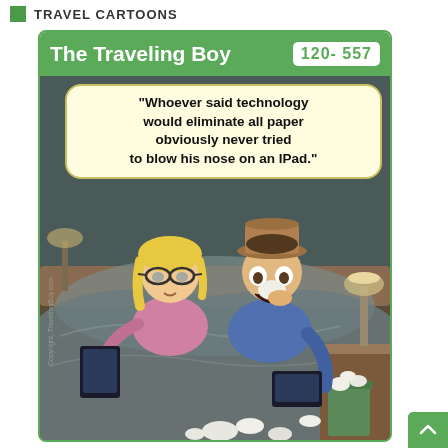TRAVEL CARTOONS
[Figure (illustration): A cartoon card titled 'The Traveling Boy' with number 120-557. The card shows a humorous cartoon of a couple in bed. A woman with blonde hair and glasses holds a tablet/iPad, while a man in a cowboy hat blows his nose into a tissue with his mouth open wide. A trash can overflowing with used tissues sits on the nightstand beside them. A speech bubble reads: 'Whoever said technology would eliminate all paper obviously never tried to blow his nose on an IPad.']